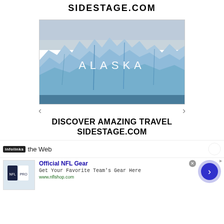SIDESTAGE.COM
[Figure (photo): Glacier photo with text ALASKA overlaid in center]
DISCOVER AMAZING TRAVEL SIDESTAGE.COM
Around the Web
[Figure (infographic): Advertisement: Official NFL Gear - Get Your Favorite Team's Gear Here - www.nflshop.com]